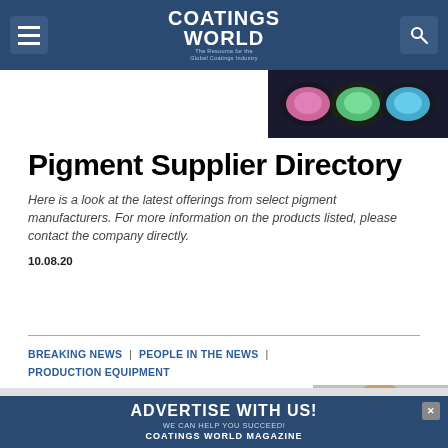COATINGS WORLD — The Resource for the Global Coatings Industry
[Figure (photo): Paint cans with colorful pigments (pink, green, teal) viewed from above on dark background]
Pigment Supplier Directory
Here is a look at the latest offerings from select pigment manufacturers. For more information on the products listed, please contact the company directly.
10.08.20
BREAKING NEWS | PEOPLE IN THE NEWS | PRODUCTION EQUIPMENT
[Figure (photo): Portrait photo of a man in a suit]
ADVERTISE WITH US! WE CAN HELP YOU SUCCEED! COATINGS WORLD MAGAZINE